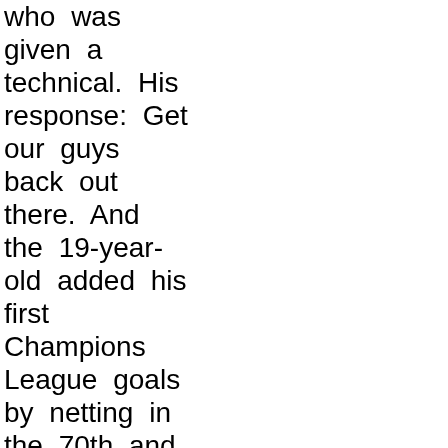who was given a technical. His response: Get our guys back out there. And the 19-year-old added his first Champions League goals by netting in the 70th and 76th minute for